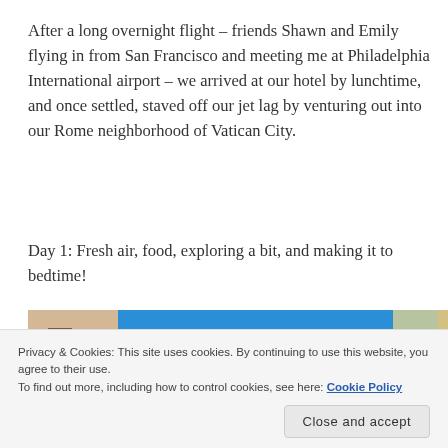After a long overnight flight – friends Shawn and Emily flying in from San Francisco and meeting me at Philadelphia International airport – we arrived at our hotel by lunchtime, and once settled, staved off our jet lag by venturing out into our Rome neighborhood of Vatican City.
Day 1: Fresh air, food, exploring a bit, and making it to bedtime!
[Figure (photo): Street-level photo looking up at buildings in Rome with bright blue sky visible between them]
Privacy & Cookies: This site uses cookies. By continuing to use this website, you agree to their use.
To find out more, including how to control cookies, see here: Cookie Policy
Close and accept